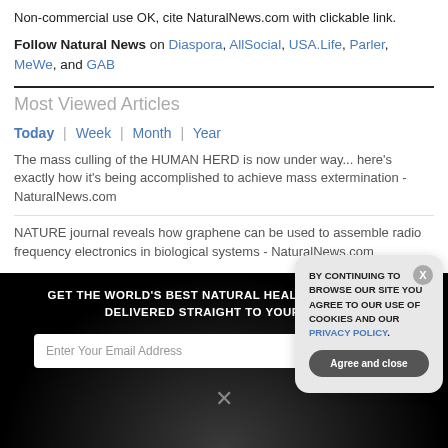Non-commercial use OK, cite NaturalNews.com with clickable link.
Follow Natural News on Diaspora, AllSocial, USA.Life, Parler, MeWe, and GAB
Most Viewed Articles
Today | Week | Month | Year
The mass culling of the HUMAN HERD is now under way... here’s exactly how it’s being accomplished to achieve mass extermination - NaturalNews.com
NATURE journal reveals how graphene can be used to assemble radio frequency electronics in biological systems - NaturalNews.com
GET THE WORLD’S BEST NATURAL HEALTH NEWSLETTER DELIVERED STRAIGHT TO YOUR INBOX
Enter Your Email Address
SUBSCRIBE
BY CONTINUING TO BROWSE OUR SITE YOU AGREE TO OUR USE OF COOKIES AND OUR PRIVACY POLICY.
Agree and close